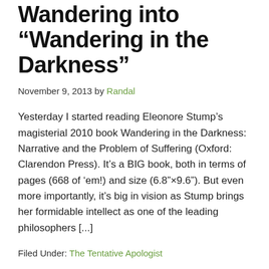Wandering into “Wandering in the Darkness”
November 9, 2013 by Randal
Yesterday I started reading Eleonore Stump’s magisterial 2010 book Wandering in the Darkness: Narrative and the Problem of Suffering (Oxford: Clarendon Press). It’s a BIG book, both in terms of pages (668 of ‘em!) and size (6.8”×9.6”). But even more importantly, it’s big in vision as Stump brings her formidable intellect as one of the leading philosophers [...]
Filed Under: The Tentative Apologist